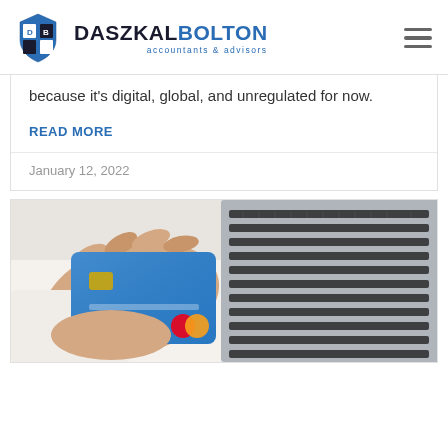[Figure (logo): Daszkal Bolton accountants & advisors logo with blue shield emblem]
because it's digital, global, and unregulated for now.
READ MORE
January 12, 2022
[Figure (photo): Person holding a blue credit card next to a laptop keyboard on a white desk]